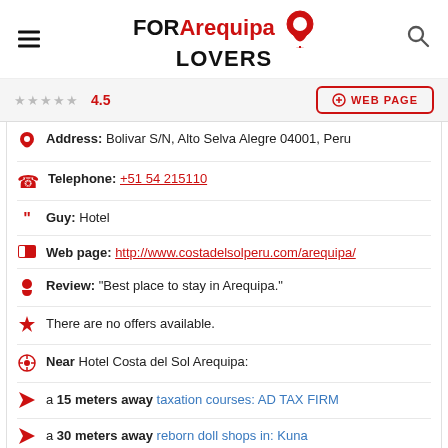FOR Arequipa LOVERS
4.5
WEB PAGE
Address: Bolivar S/N, Alto Selva Alegre 04001, Peru
Telephone: +51 54 215110
Guy: Hotel
Web page: http://www.costadelsolperu.com/arequipa/
Review: "Best place to stay in Arequipa."
There are no offers available.
Near Hotel Costa del Sol Arequipa:
a 15 meters away taxation courses: AD TAX FIRM
a 30 meters away reborn doll shops in: Kuna